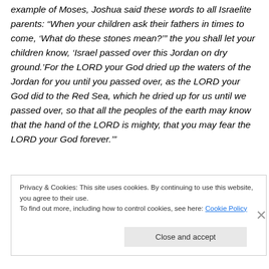example of Moses, Joshua said these words to all Israelite parents: “When your children ask their fathers in times to come, ‘What do these stones mean?’” the you shall let your children know, ‘Israel passed over this Jordan on dry ground.’For the LORD your God dried up the waters of the Jordan for you until you passed over, as the LORD your God did to the Red Sea, which he dried up for us until we passed over, so that all the peoples of the earth may know that the hand of the LORD is mighty, that you may fear the LORD your God forever.’”
Privacy & Cookies: This site uses cookies. By continuing to use this website, you agree to their use.
To find out more, including how to control cookies, see here: Cookie Policy